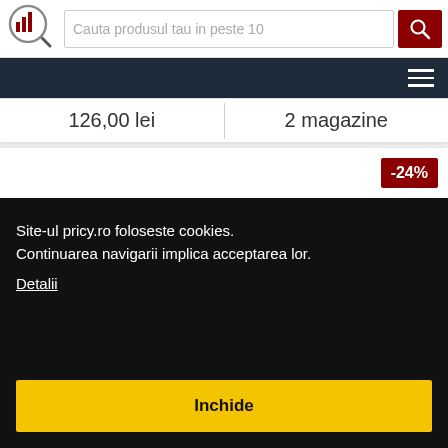Cauta produsul tau in peste 10
126,00 lei
2 magazine
-24%
Site-ul pricy.ro foloseste cookies. Continuarea navigarii implica acceptarea lor. Detalii
Inchide